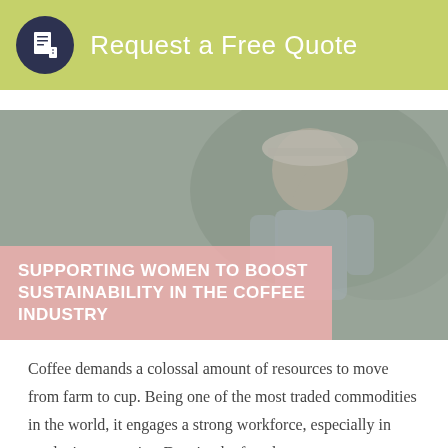Request a Free Quote
[Figure (photo): A woman wearing a head covering in a coffee farm setting, with a gray/muted overlay. The image serves as a hero banner for an article about supporting women in the coffee industry.]
SUPPORTING WOMEN TO BOOST SUSTAINABILITY IN THE COFFEE INDUSTRY
Coffee demands a colossal amount of resources to move from farm to cup. Being one of the most traded commodities in the world, it engages a strong workforce, especially in producing countries. Despite the fact that